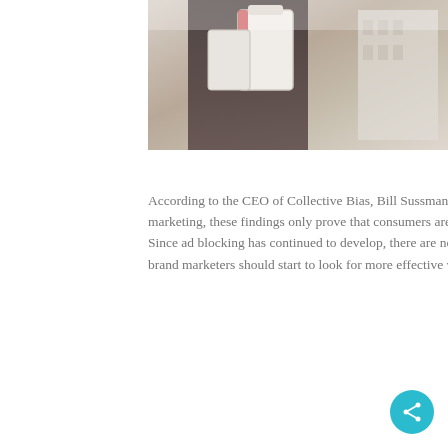[Figure (photo): A person holding shopping bags, partially visible from chest down, with a blurred building background.]
According to the CEO of Collective Bias, Bill Sussman, even if there is only less data that is available on the impacts of influencer marketing, these findings only prove that consumers are not easily influenced by celebrity endorsements or any kind of advertisements.  Since ad blocking has continued to develop, there are now lesser chances for traditional advertisements to gain ROI. This means that brand marketers should start to look for more effective ways of convincing consumers. For instance, using influencer content.